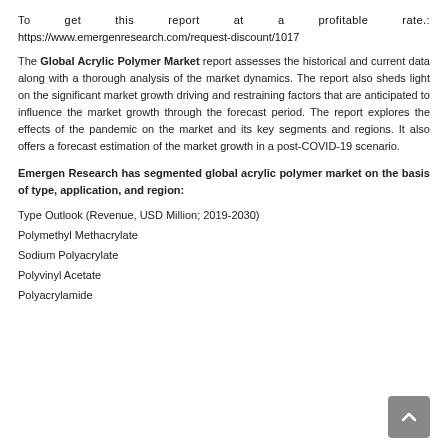To get this report at a profitable rate.: https://www.emergenresearch.com/request-discount/1017
The Global Acrylic Polymer Market report assesses the historical and current data along with a thorough analysis of the market dynamics. The report also sheds light on the significant market growth driving and restraining factors that are anticipated to influence the market growth through the forecast period. The report explores the effects of the pandemic on the market and its key segments and regions. It also offers a forecast estimation of the market growth in a post-COVID-19 scenario.
Emergen Research has segmented global acrylic polymer market on the basis of type, application, and region:
Type Outlook (Revenue, USD Million; 2019-2030)
Polymethyl Methacrylate
Sodium Polyacrylate
Polyvinyl Acetate
Polyacrylamide